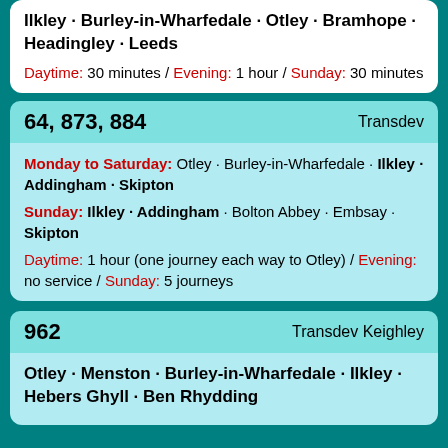Ilkley · Burley-in-Wharfedale · Otley · Bramhope · Headingley · Leeds
Daytime: 30 minutes / Evening: 1 hour / Sunday: 30 minutes
64, 873, 884   Transdev
Monday to Saturday: Otley · Burley-in-Wharfedale · Ilkley · Addingham · Skipton
Sunday: Ilkley · Addingham · Bolton Abbey · Embsay · Skipton
Daytime: 1 hour (one journey each way to Otley) / Evening: no service / Sunday: 5 journeys
962   Transdev Keighley
Otley · Menston · Burley-in-Wharfedale · Ilkley · Hebers Ghyll · Ben Rhydding